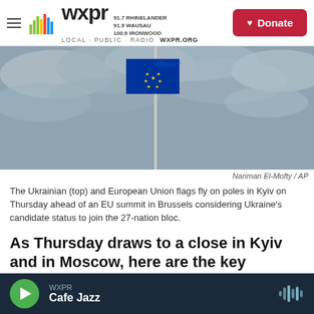WXPR LOCAL · PUBLIC · RADIO | 91.7 RHINELANDER 91.9 WAUSAU 100.9 IRONWOOD WXPR.ORG | Donate
[Figure (photo): An EU flag flying on a pole against a cloudy sky in Kyiv]
Nariman El-Mofty / AP
The Ukrainian (top) and European Union flags fly on poles in Kyiv on Thursday ahead of an EU summit in Brussels considering Ukraine's candidate status to join the 27-nation bloc.
As Thursday draws to a close in Kyiv and in Moscow, here are the key developments of the day:
WXPR Cafe Jazz